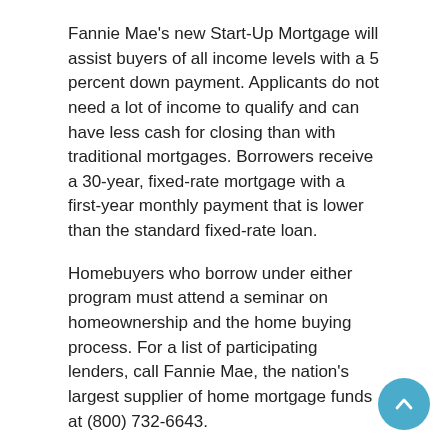Fannie Mae's new Start-Up Mortgage will assist buyers of all income levels with a 5 percent down payment. Applicants do not need a lot of income to qualify and can have less cash for closing than with traditional mortgages. Borrowers receive a 30-year, fixed-rate mortgage with a first-year monthly payment that is lower than the standard fixed-rate loan.
Homebuyers who borrow under either program must attend a seminar on homeownership and the home buying process. For a list of participating lenders, call Fannie Mae, the nation's largest supplier of home mortgage funds at (800) 732-6643.
How can I finance work needed for home repairs?
According to the Millennial Housing Commission created by Congress, few lenders are willing to